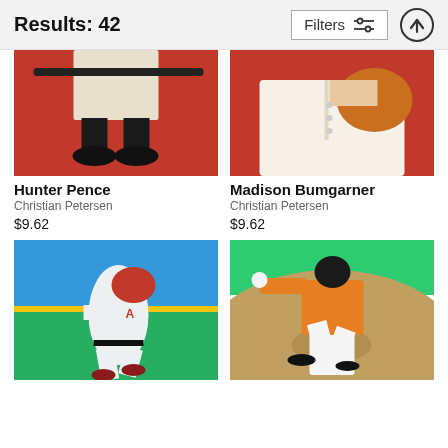Results: 42
[Figure (screenshot): Filters button with sliders icon and up-arrow circle button]
[Figure (photo): Hunter Pence baseball photo - legs and bat on red background]
Hunter Pence
Christian Petersen
$9.62
[Figure (photo): Madison Bumgarner baseball photo - torso with glove on red background]
Madison Bumgarner
Christian Petersen
$9.62
[Figure (photo): Atlanta Braves player running on baseball field]
[Figure (photo): Miami Marlins pitcher throwing on baseball field]